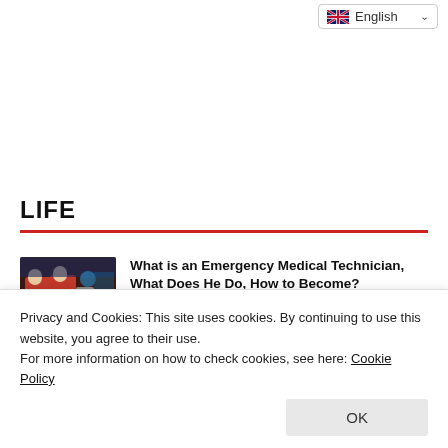English
LIFE
What is an Emergency Medical Technician, What Does He Do, How to Become? Emergency Medical Technician Salaries
[Figure (photo): Emergency medical workers in red uniforms working outdoors]
Privacy and Cookies: This site uses cookies. By continuing to use this website, you agree to their use.
For more information on how to check cookies, see here: Cookie Policy